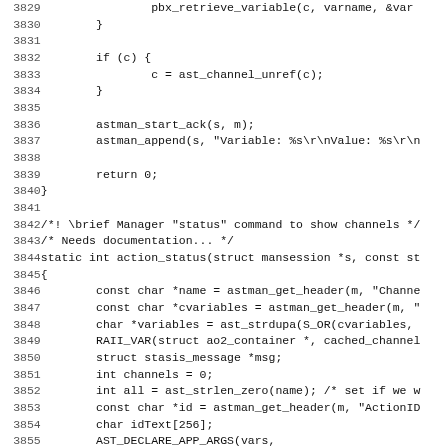Source code listing, lines 3829-3860, C language, Asterisk PBX manager action functions